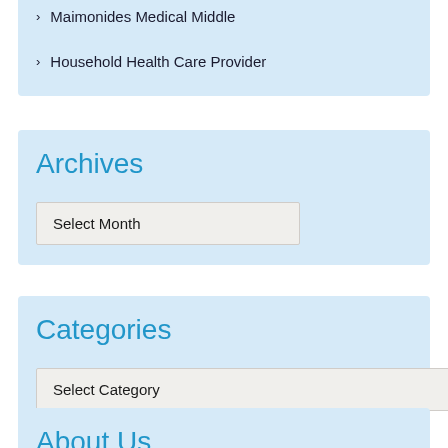Maimonides Medical Middle
Household Health Care Provider
Archives
Select Month
Categories
Select Category
About Us